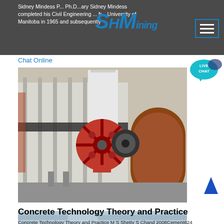Sidney Mindess P... Ph.D. ...ary Sidney Mindess completed his Civil Engineering ... fr... University of Manitoba in 1965 and subsequently
Chat Online
[Figure (photo): Industrial conveyor belt machinery with red drive wheel and drum roller in a factory setting]
Concrete Technology Theory and Practice
Concrete Technology Theory and Practice M S Shetty S Chand 2008Cement624 pages 23 Reviews What people are sayingWrite a review User ratings 5 stars 15 4 stars 3 3 stars 1 2 stars 0 1 star 4 User ReviewFlag as inappropriate great book for B.tech students of civil engineering it offers a wide view of the aspects
Chat Online